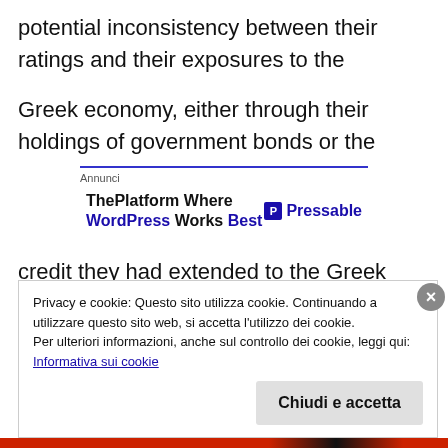potential inconsistency between their ratings and their exposures to the
Greek economy, either through their holdings of government bonds or the
[Figure (other): Advertisement banner: 'ThePlatform Where WordPress Works Best' with Pressable logo]
credit they had extended to the Greek private sector.
Privacy e cookie: Questo sito utilizza cookie. Continuando a utilizzare questo sito web, si accetta l'utilizzo dei cookie. Per ulteriori informazioni, anche sul controllo dei cookie, leggi qui: Informativa sui cookie
Chiudi e accetta